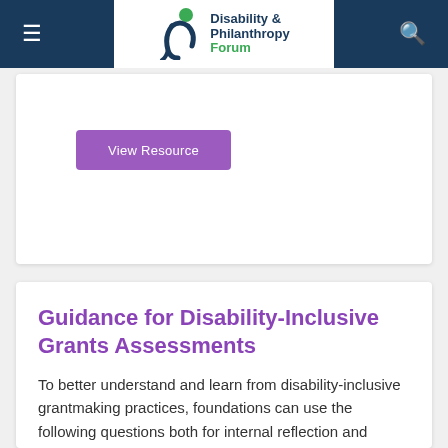Disability & Philanthropy Forum — navigation header
[Figure (logo): Disability & Philanthropy Forum logo with green circle and blue curved shape icon]
View Resource
Guidance for Disability-Inclusive Grants Assessments
To better understand and learn from disability-inclusive grantmaking practices, foundations can use the following questions both for internal reflection and...